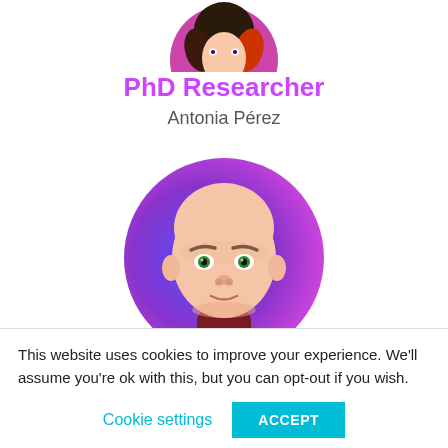[Figure (illustration): Partially cropped circular avatar at top of page showing animated character with dark hair on pink/purple background]
PhD Researcher
Antonia Pérez
[Figure (illustration): 3D animated avatar of a bald figure with green eyes and a maroon shirt on a blue-purple circular background]
This website uses cookies to improve your experience. We'll assume you're ok with this, but you can opt-out if you wish.
Cookie settings
ACCEPT